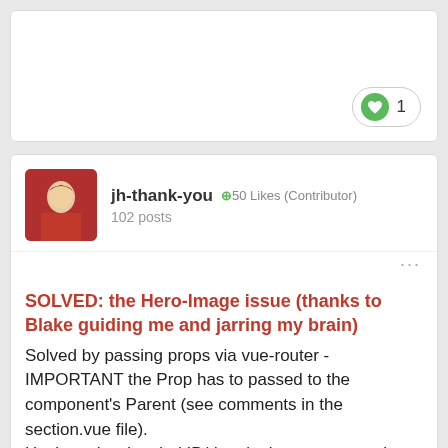[Figure (screenshot): Top card with like/heart button showing count of 1]
jh-thank-you ⊕50 Likes (Contributor)
102 posts
SOLVED: the Hero-Image issue (thanks to Blake guiding me and jarring my brain)
Solved by passing props via vue-router - IMPORTANT the Prop has to passed to the component's Parent (see comments in the section.vue file).
Having a hard coded ID/data in the routes prop has some benefits vs dynamically changing the prop based on the eventBus data: